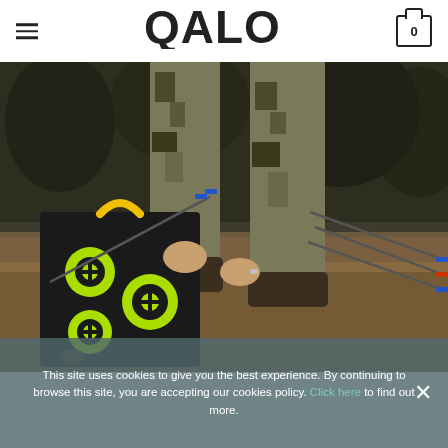QALO
[Figure (photo): Person wearing camouflage clothing crouching near a black and green cube archery target with arrows, in an outdoor wooded setting]
This site uses cookies to give you the best experience. By continuing to browse this site, you are accepting our cookies policy. Click here to find out more.